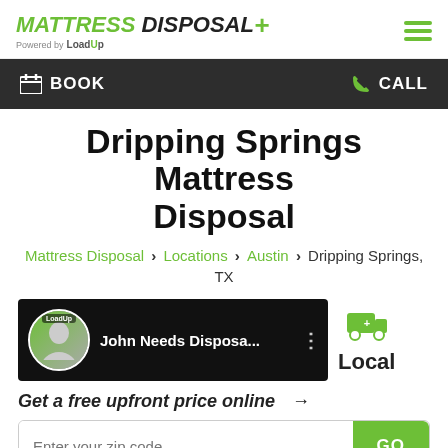[Figure (logo): Mattress Disposal Plus logo with LoadUp branding and hamburger menu icon]
BOOK | CALL
Dripping Springs Mattress Disposal
Mattress Disposal > Locations > Austin > Dripping Springs, TX
[Figure (screenshot): Video thumbnail showing LoadUp avatar and text 'John Needs Disposa...' with three-dot menu, and a truck icon with 'Local' text]
Get a free upfront price online →
Enter your zip code | GO